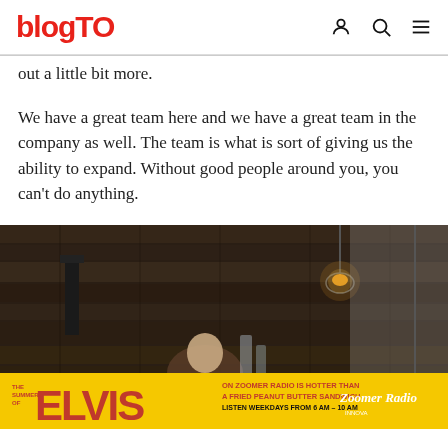blogTO
out a little bit more.
We have a great team here and we have a great team in the company as well. The team is what is sort of giving us the ability to expand. Without good people around you, you can't do anything.
[Figure (photo): Interior restaurant photo showing rustic dark wood plank walls, pendant Edison bulb lights, a person seated, glassware on table, and a yellow Elvis/Zoomer Radio advertisement banner at the bottom.]